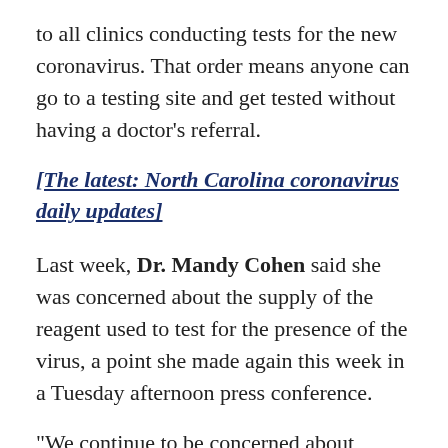to all clinics conducting tests for the new coronavirus. That order means anyone can go to a testing site and get tested without having a doctor's referral.
[The latest: North Carolina coronavirus daily updates]
Last week, Dr. Mandy Cohen said she was concerned about the supply of the reagent used to test for the presence of the virus, a point she made again this week in a Tuesday afternoon press conference.
“We continue to be concerned about testing